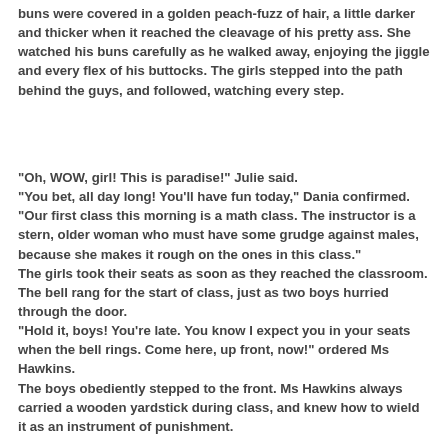buns were covered in a golden peach-fuzz of hair, a little darker and thicker when it reached the cleavage of his pretty ass. She watched his buns carefully as he walked away, enjoying the jiggle and every flex of his buttocks. The girls stepped into the path behind the guys, and followed, watching every step.
"Oh, WOW, girl! This is paradise!" Julie said. "You bet, all day long! You'll have fun today," Dania confirmed. "Our first class this morning is a math class. The instructor is a stern, older woman who must have some grudge against males, because she makes it rough on the ones in this class." The girls took their seats as soon as they reached the classroom. The bell rang for the start of class, just as two boys hurried through the door. "Hold it, boys! You're late. You know I expect you in your seats when the bell rings. Come here, up front, now!" ordered Ms Hawkins. The boys obediently stepped to the front. Ms Hawkins always carried a wooden yardstick during class, and knew how to wield it as an instrument of punishment.